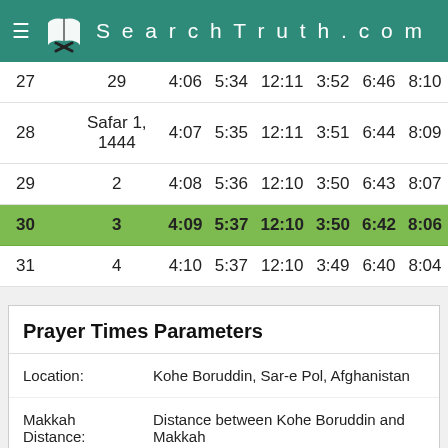SearchTruth.com
| Day | Hijri | Fajr | Sunrise | Dhuhr | Asr | Maghrib | Isha |
| --- | --- | --- | --- | --- | --- | --- | --- |
| 27 | 29 | 4:06 | 5:34 | 12:11 | 3:52 | 6:46 | 8:10 |
| 28 | Safar 1, 1444 | 4:07 | 5:35 | 12:11 | 3:51 | 6:44 | 8:09 |
| 29 | 2 | 4:08 | 5:36 | 12:10 | 3:50 | 6:43 | 8:07 |
| 30 | 3 | 4:09 | 5:37 | 12:10 | 3:50 | 6:42 | 8:06 |
| 31 | 4 | 4:10 | 5:37 | 12:10 | 3:49 | 6:40 | 8:04 |
Prayer Times Parameters
Location: Kohe Boruddin, Sar-e Pol, Afghanistan
Makkah Distance: Distance between Kohe Boruddin and Makkah is 2,964 kilometers